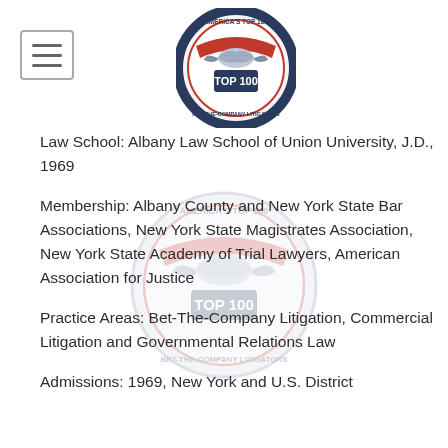[Figure (logo): America's Top 100 Bet-The-Company Litigators circular seal logo, top center]
[Figure (logo): Hamburger/menu icon in top-left corner inside a rounded rectangle border]
Law School: Albany Law School of Union University, J.D., 1969
[Figure (logo): America's Top 100 Bet-The-Company Litigators circular seal watermark, center of page]
Membership: Albany County and New York State Bar Associations, New York State Magistrates Association, New York State Academy of Trial Lawyers, American Association for Justice
Practice Areas: Bet-The-Company Litigation, Commercial Litigation and Governmental Relations Law
Admissions: 1969, New York and U.S. District